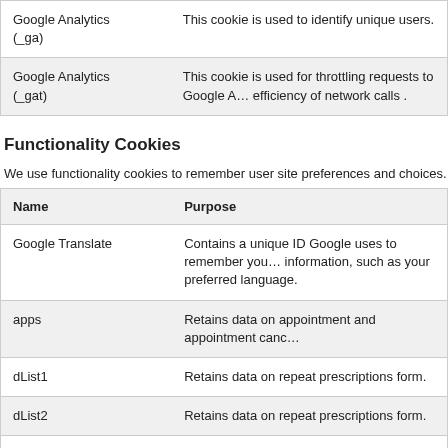| Name | Purpose |
| --- | --- |
| Google Analytics (_ga) | This cookie is used to identify unique users. |
| Google Analytics (_gat) | This cookie is used for throttling requests to Google A… efficiency of network calls . |
Functionality Cookies
We use functionality cookies to remember user site preferences and choices.
| Name | Purpose |
| --- | --- |
| Google Translate | Contains a unique ID Google uses to remember you… information, such as your preferred language. |
| apps | Retains data on appointment and appointment canc… |
| dList1 | Retains data on repeat prescriptions form. |
| dList2 | Retains data on repeat prescriptions form. |
| repeatPrescriptions | Retains data on repeat prescriptions form. |